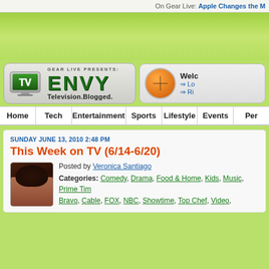On Gear Live: Apple Changes the M
[Figure (logo): TV Envy logo — Gear Live Presents: ENVY Television.Blogged. with TV monitor icon]
[Figure (other): Orange circular icon with navigation cross, Welcome box with Login and Register links]
Home | Tech | Entertainment | Sports | Lifestyle | Events | Per
SUNDAY JUNE 13, 2010 2:48 PM
This Week on TV (6/14-6/20)
Posted by Veronica Santiago
Categories: Comedy, Drama, Food & Home, Kids, Music, Prime Time, Bravo, Cable, FOX, NBC, Showtime, Top Chef, Video,
[Figure (photo): Author photo of Veronica Santiago — woman with dark hair]